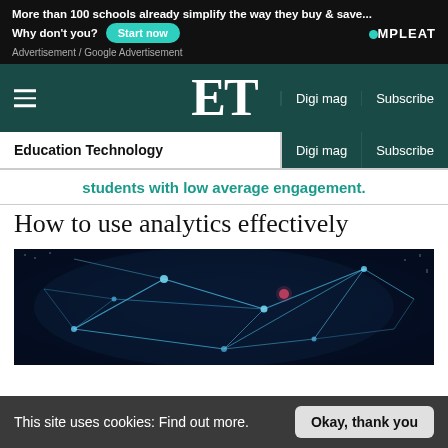[Figure (screenshot): Advertisement banner: 'More than 100 schools already simplify the way they buy & save... Why don't you? Start now' with Compleat logo on dark background]
Advertisement / Google Advertisement
ET — Education Technology | Digi mag | Subscribe
students with low average engagement.
How to use analytics effectively
[Figure (photo): Abstract network visualization image showing glowing blue lines and nodes against a dark background, representing data analytics or connectivity]
This site uses cookies: Find out more.  Okay, thank you